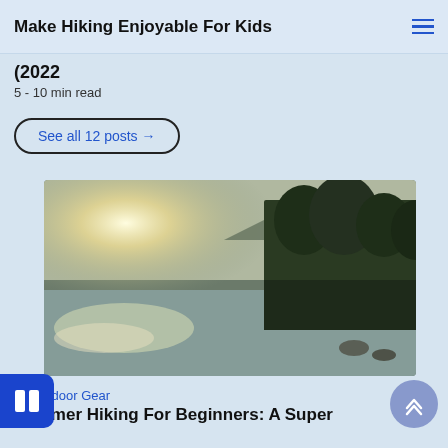Make Hiking Enjoyable For Kids
(2022
5 - 10 min read
See all 12 posts →
[Figure (photo): Scenic nature photo of a river with sunlight breaking through trees and mountains in the background]
🖼 Outdoor Gear
Summer Hiking For Beginners: A Super